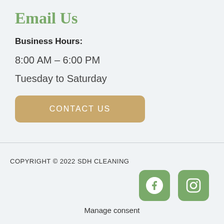Email Us
Business Hours:
8:00 AM – 6:00 PM
Tuesday to Saturday
CONTACT US
COPYRIGHT © 2022 SDH CLEANING
[Figure (logo): Facebook social media icon (green rounded square with Facebook 'f' logo)]
[Figure (logo): Instagram social media icon (green rounded square with Instagram camera logo)]
Manage consent